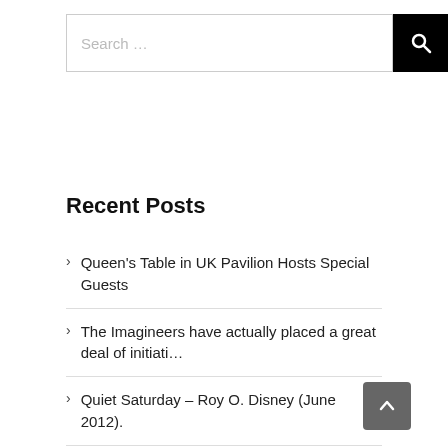[Figure (screenshot): Search bar with text placeholder 'Search ...' and a black search button with magnifying glass icon]
Recent Posts
Queen's Table in UK Pavilion Hosts Special Guests
The Imagineers have actually placed a great deal of initiati…
Quiet Saturday – Roy O. Disney (June 2012).